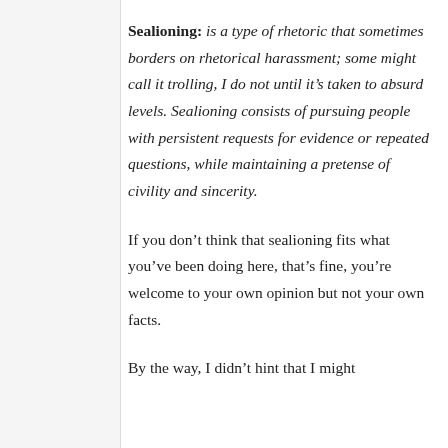Sealioning: is a type of rhetoric that sometimes borders on rhetorical harassment; some might call it trolling, I do not until it's taken to absurd levels. Sealioning consists of pursuing people with persistent requests for evidence or repeated questions, while maintaining a pretense of civility and sincerity.
If you don't think that sealioning fits what you've been doing here, that's fine, you're welcome to your own opinion but not your own facts.
By the way, I didn't hint that I might